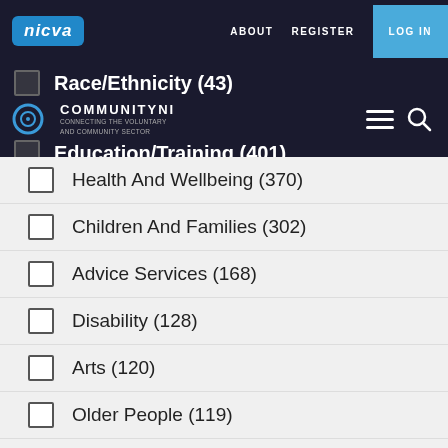NICVA COMMUNITYNI | ABOUT  REGISTER  LOG IN
Race/Ethnicity (43)
Education/Training (401)
Health And Wellbeing (370)
Children And Families (302)
Advice Services (168)
Disability (128)
Arts (120)
Older People (119)
Men (63)
Rural Development (59)
Carers (53)
Transport (20)